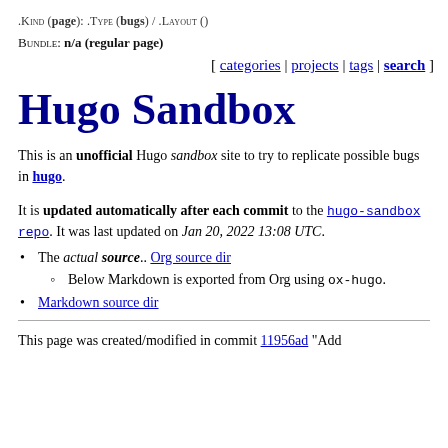.Kind (page): .Type (bugs) / .Layout ()
Bundle: n/a (regular page)
[ categories | projects | tags | search ]
Hugo Sandbox
This is an unofficial Hugo sandbox site to try to replicate possible bugs in hugo.
It is updated automatically after each commit to the hugo-sandbox-repo. It was last updated on Jan 20, 2022 13:08 UTC.
The actual source.. Org source dir
Below Markdown is exported from Org using ox-hugo.
Markdown source dir
This page was created/modified in commit 11956ad "Add